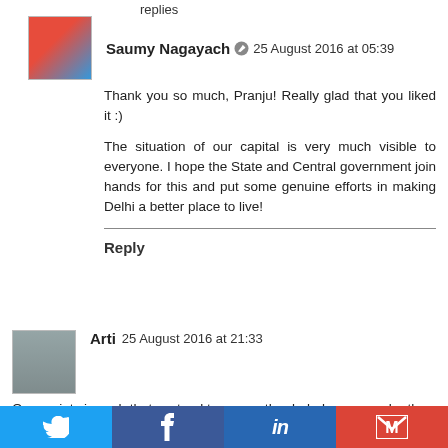replies
Saumy Nagayach  25 August 2016 at 05:39
Thank you so much, Pranju! Really glad that you liked it :)
The situation of our capital is very much visible to everyone. I hope the State and Central government join hands for this and put some genuine efforts in making Delhi a better place to live!
Reply
Arti  25 August 2016 at 21:33
Our society is such that we tend to sweep the dark demons under the carpet rather than address them in a humane way. Wonderful post, the poem is really touching.
Reply